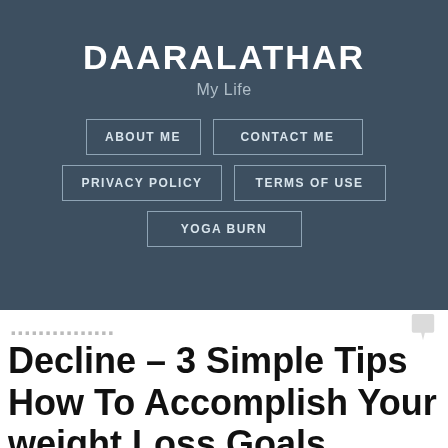DAARALATHAR
My Life
ABOUT ME
CONTACT ME
PRIVACY POLICY
TERMS OF USE
YOGA BURN
Decline – 3 Simple Tips How To Accomplish Your weight Loss Goals